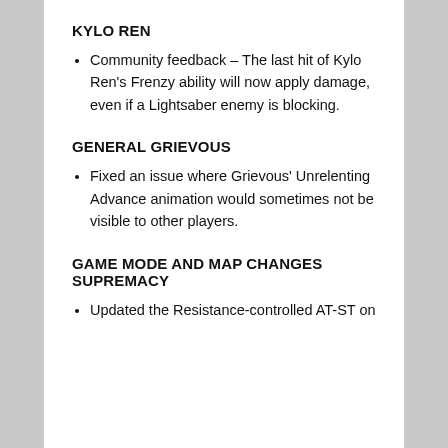KYLO REN
Community feedback – The last hit of Kylo Ren's Frenzy ability will now apply damage, even if a Lightsaber enemy is blocking.
GENERAL GRIEVOUS
Fixed an issue where Grievous' Unrelenting Advance animation would sometimes not be visible to other players.
GAME MODE AND MAP CHANGES SUPREMACY
Updated the Resistance-controlled AT-ST on